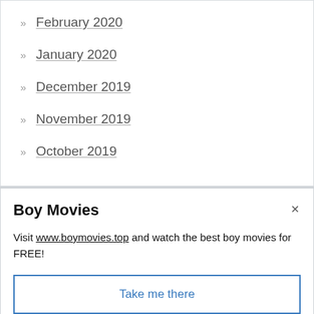» February 2020
» January 2020
» December 2019
» November 2019
» October 2019
Boy Movies
Visit www.boymovies.top and watch the best boy movies for FREE!
Take me there